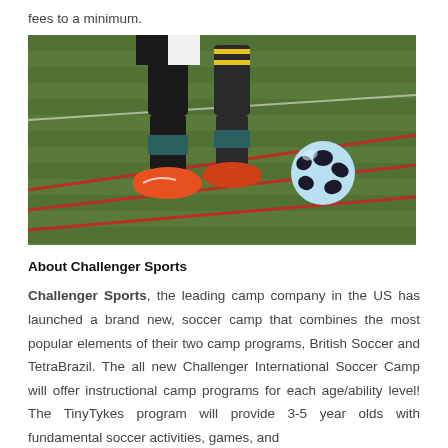fees to a minimum.
[Figure (photo): A soccer player's legs in Juventus black and yellow kit with orange Nike cleats and black socks, with a light blue soccer ball on a grass field with red boundary lines.]
About Challenger Sports
Challenger Sports, the leading camp company in the US has launched a brand new, soccer camp that combines the most popular elements of their two camp programs, British Soccer and TetraBrazil. The all new Challenger International Soccer Camp will offer instructional camp programs for each age/ability level! The TinyTykes program will provide 3-5 year olds with fundamental soccer activities, games, and